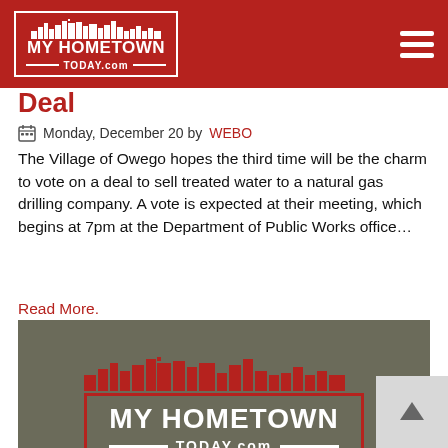MY HOMETOWN TODAY.com
Deal
Monday, December 20 by WEBO
The Village of Owego hopes the third time will be the charm to vote on a deal to sell treated water to a natural gas drilling company. A vote is expected at their meeting, which begins at 7pm at the Department of Public Works office…
Read More.
[Figure (logo): My Hometown Today.com logo on dark aerial photo background]
Vestal to Discuss Condemned Property
Monday, December 20 by WEBO
The Vestal Town Board will discuss a condemned property